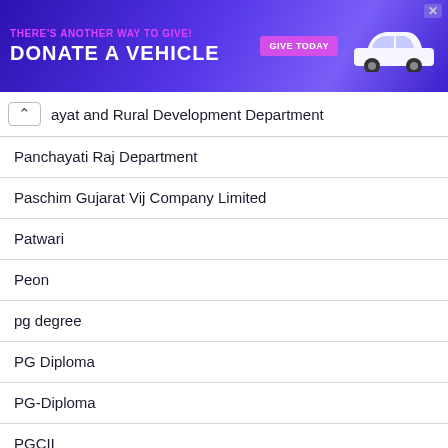[Figure (infographic): Advertisement banner: purple/blue gradient background, text 'THERE'S ANOTHER WAY TO GIVE! DONATE A VEHICLE' with pink 'GIVE TODAY' button and white car illustration]
ayat and Rural Development Department
Panchayati Raj Department
Paschim Gujarat Vij Company Limited
Patwari
Peon
pg degree
PG Diploma
PG-Diploma
PGCIL
PGT
PGVCL
Ph.D degree
Ph.D. Degree